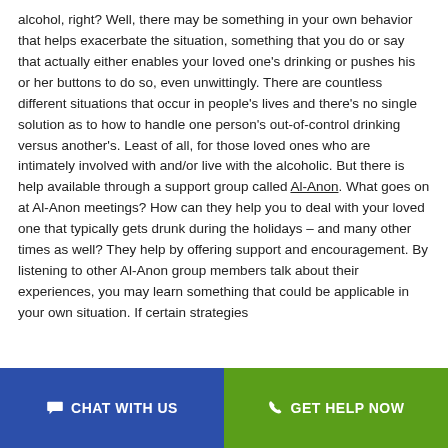alcohol, right? Well, there may be something in your own behavior that helps exacerbate the situation, something that you do or say that actually either enables your loved one's drinking or pushes his or her buttons to do so, even unwittingly. There are countless different situations that occur in people's lives and there's no single solution as to how to handle one person's out-of-control drinking versus another's. Least of all, for those loved ones who are intimately involved with and/or live with the alcoholic. But there is help available through a support group called Al-Anon. What goes on at Al-Anon meetings? How can they help you to deal with your loved one that typically gets drunk during the holidays – and many other times as well? They help by offering support and encouragement. By listening to other Al-Anon group members talk about their experiences, you may learn something that could be applicable in your own situation. If certain strategies
CHAT WITH US | GET HELP NOW